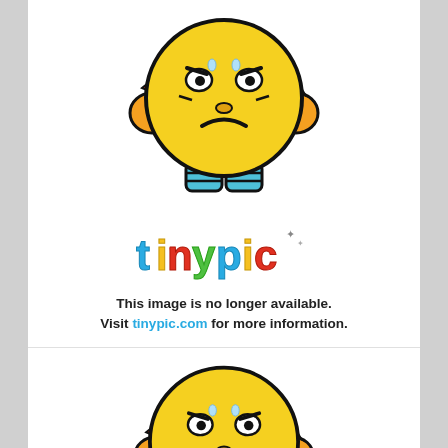[Figure (illustration): Tinypic mascot - angry yellow emoji face with orange ears, blue body/hands, black outline. Top instance.]
[Figure (logo): Tinypic logo with colorful bubble letters spelling 'tinypic' with sparkles]
This image is no longer available.
Visit tinypic.com for more information.
[Figure (illustration): Tinypic mascot - angry yellow emoji face with orange ears, blue body/hands, black outline. Bottom instance.]
[Figure (logo): Tinypic logo partial - bottom of page, colorful bubble letters spelling 'tinypic']